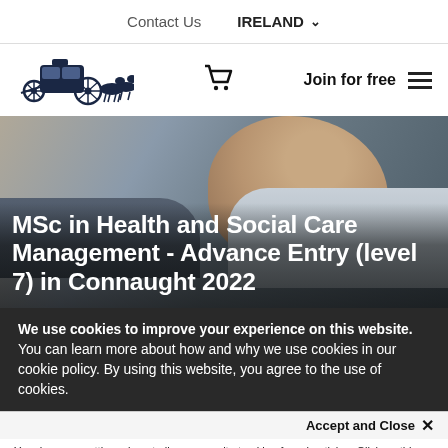Contact Us   IRELAND ▾
[Figure (logo): Horse-drawn carriage logo (dark navy illustration) on white background, with cart icon and 'Join for free' text and hamburger menu]
[Figure (photo): Woman in business attire looking upward thoughtfully, overlaid with white bold title text: MSc in Health and Social Care Management - Advance Entry (level 7) in Connaught 2022]
MSc in Health and Social Care Management - Advance Entry (level 7) in Connaught 2022
We use cookies to improve your experience on this website. You can learn more about how and why we use cookies in our cookie policy. By using this website, you agree to the use of cookies.
Accept and Close ✕
Your browser settings do not allow cross-site tracking for advertising. Click on this page to allow AdRoll to use cross-site tracking to tailor ads to you. Learn more or opt out of this AdRoll tracking by clicking here. This message only appears once.